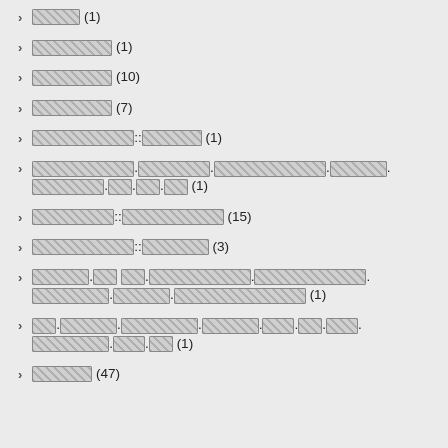[redacted] (1)
[redacted] (1)
[redacted] (10)
[redacted] (7)
[redacted]::[redacted] (1)
[redacted].[redacted].[redacted].[redacted].[redacted].[redacted].[redacted] (1)
[redacted]::[redacted] (15)
[redacted]::[redacted] (3)
[redacted].[redacted] [redacted].[redacted].[redacted].[redacted].[redacted].[redacted].[redacted] (1)
[redacted].[redacted].[redacted].[redacted].[redacted].[redacted].[redacted].[redacted].[redacted] (1)
[redacted] (47)